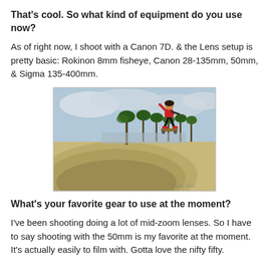That's cool. So what kind of equipment do you use now?
As of right now, I shoot with a Canon 7D. & the Lens setup is pretty basic: Rokinon 8mm fisheye, Canon 28-135mm, 50mm, & Sigma 135-400mm.
[Figure (photo): Skateboarder performing a trick at the edge of a concrete skate bowl with palm trees and cloudy sky in the background.]
What's your favorite gear to use at the moment?
I've been shooting doing a lot of mid-zoom lenses. So I have to say shooting with the 50mm is my favorite at the moment. It's actually easily to film with. Gotta love the nifty fifty.